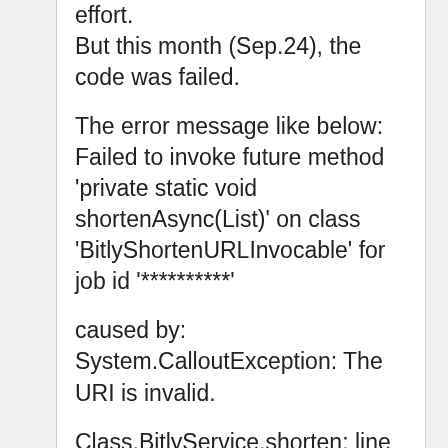effort.
But this month (Sep.24), the code was failed.

The error message like below: Failed to invoke future method 'private static void shortenAsync(List)' on class 'BitlyShortenURLInvocable' for job id '**********'

caused by: System.CalloutException: The URI is invalid.

Class.BitlyService.shorten: line 31, column 1
Class.BitlyShortenURLInvocable.shorten/